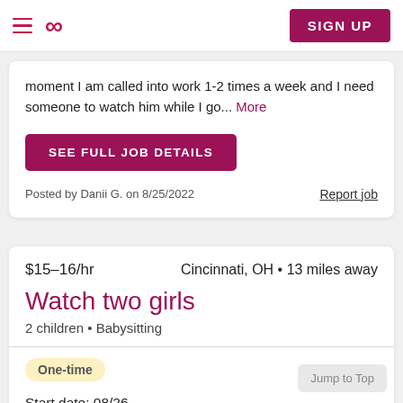Sittercity - SIGN UP
moment I am called into work 1-2 times a week and I need someone to watch him while I go... More
SEE FULL JOB DETAILS
Posted by Danii G. on 8/25/2022
Report job
$15–16/hr
Cincinnati, OH • 13 miles away
Watch two girls
2 children • Babysitting
One-time
Start date: 08/26
6:00pm - 11:00pm
Jump to Top